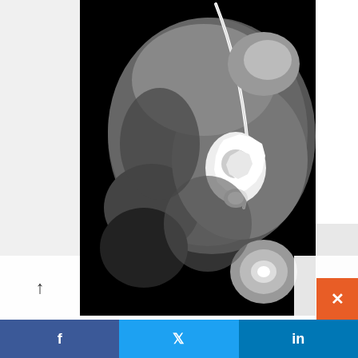[Figure (photo): Axial CT scan image of the heart showing severe mitral annular calcification. The image is in grayscale/black-and-white with bright white calcification visible in the mitral valve region. A pacemaker lead is also visible.]
SEVERE MITRAL ANNULAR CALCIFICATION
82-year-old female with end stage renal failure, diabetes mellitus, CAD, s/p CABG x2 and AVR, severe mitral annular calcification, extending to the septum, s/p pacemaker, with associated mild mitral stenosis and significant mitral regurgitation. Severe aortic stenosis warranted AVR.
Axial CT through the mitral annulus shows severe mitral annular